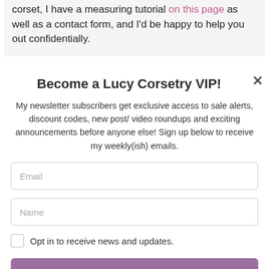corset, I have a measuring tutorial on this page as well as a contact form, and I'd be happy to help you out confidentially.
Become a Lucy Corsetry VIP!
My newsletter subscribers get exclusive access to sale alerts, discount codes, new post/ video roundups and exciting announcements before anyone else! Sign up below to receive my weekly(ish) emails.
Email
Name
Opt in to receive news and updates.
SUBSCRIBE